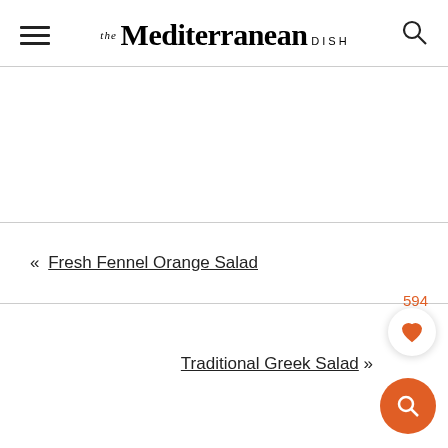THE Mediterranean DISH
« Fresh Fennel Orange Salad
Traditional Greek Salad »
594